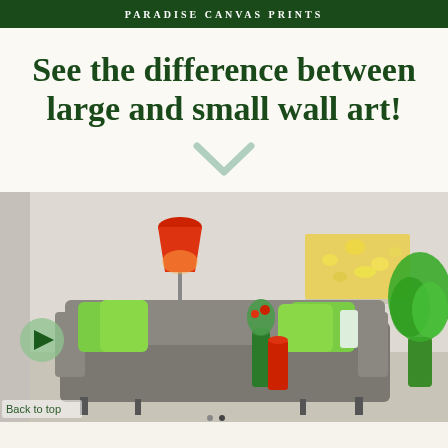PARADISE CANVAS PRINTS
See the difference between large and small wall art!
[Figure (photo): Living room scene showing a gray sofa with green cushions, a red floor lamp, a yellow flower canvas print on the wall, a green vase on the floor, and a potted plant. A play button overlay is visible on the left side with 'Back to top' text.]